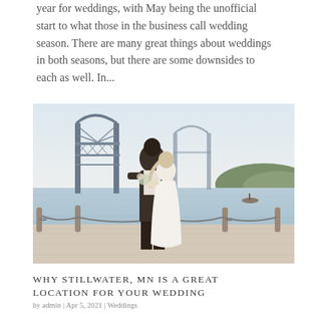year for weddings, with May being the unofficial start to what those in the business call wedding season. There are many great things about weddings in both seasons, but there are some downsides to each as well. In...
[Figure (photo): A bride and groom in a dip pose on a waterfront promenade. The groom has long dark hair and a beard, wearing a white shirt and dark pants. The bride is in a white fitted gown. Behind them is a large steel bridge over a river, with hills and a small boat visible in the background. Chain-link fence posts line the promenade.]
WHY STILLWATER, MN IS A GREAT LOCATION FOR YOUR WEDDING
by admin | Apr 5, 2021 | Weddings